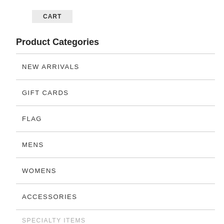CART
Product Categories
NEW ARRIVALS
GIFT CARDS
FLAG
MENS
WOMENS
ACCESSORIES
SPECIALTY ITEMS
GLOVES
BEAN BAG CHAIRS
DECALS